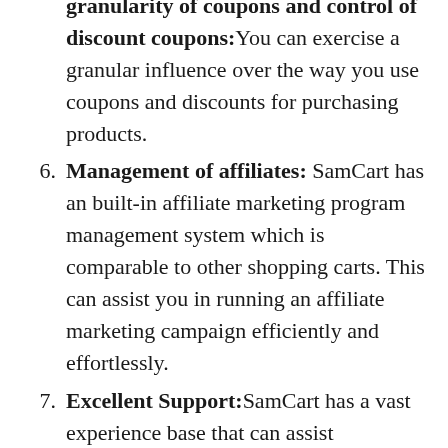granularity of coupons and control of discount coupons: You can exercise a granular influence over the way you use coupons and discounts for purchasing products.
6. Management of affiliates: SamCart has an built-in affiliate marketing program management system which is comparable to other shopping carts. This can assist you in running an affiliate marketing campaign efficiently and effortlessly.
7. Excellent Support: SamCart has a vast experience base that can assist customers with all kinds of problems. Support is also available via Facebook groups, email and Facebook and live chat.
8. Analytics as well as ReportingThe platform features a stunning dashboard